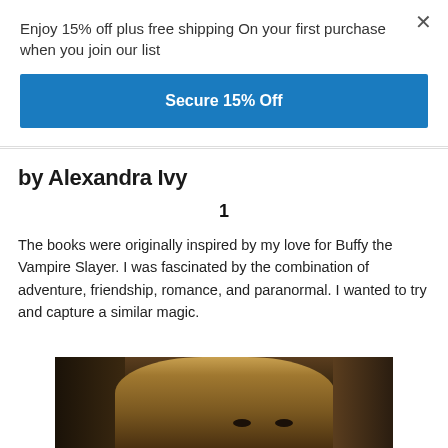Enjoy 15% off plus free shipping On your first purchase when you join our list
Secure 15% Off
×
by Alexandra Ivy
1
The books were originally inspired by my love for Buffy the Vampire Slayer. I was fascinated by the combination of adventure, friendship, romance, and paranormal. I wanted to try and capture a similar magic.
[Figure (photo): Partial photo of a blonde woman's face, cropped from the top, dark moody background.]